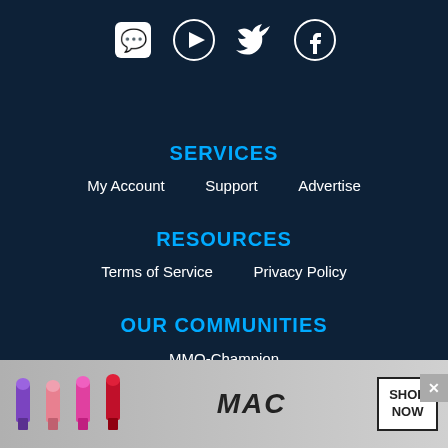[Figure (illustration): Social media icons: Discord, YouTube, Twitter, Facebook in white on dark blue background]
SERVICES
My Account
Support
Advertise
RESOURCES
Terms of Service
Privacy Policy
OUR COMMUNITIES
MMO-Champion
BlueTracker
HearthPwn
Minecraft Forum
Minecraft Station
Overframe
MTG Salvation
[Figure (photo): MAC cosmetics advertisement with lipsticks and SHOP NOW button]